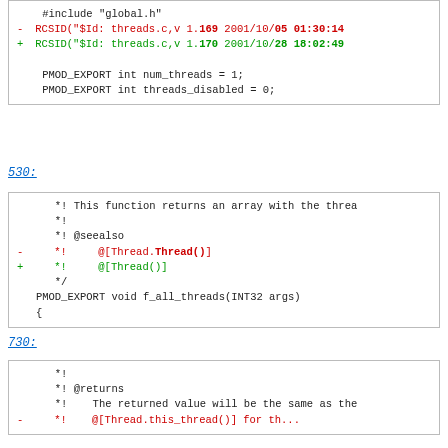[Figure (screenshot): Code diff block showing #include global.h and RCSID lines with version changes from 1.169 to 1.170, and PMOD_EXPORT declarations]
530:
[Figure (screenshot): Code diff block showing function comment with @seealso and change from @[Thread.Thread()] to @[Thread()], and PMOD_EXPORT void f_all_threads function declaration]
730:
[Figure (screenshot): Code diff block showing @returns comment and The returned value will be the same as the...]